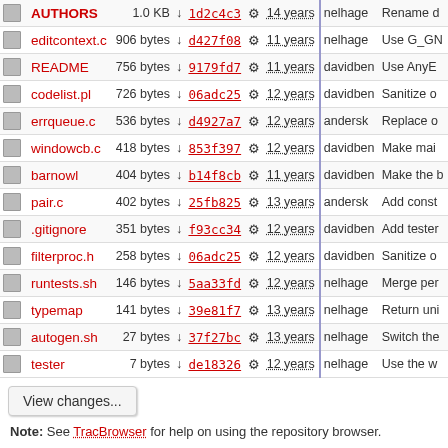|  | Name | Size |  | Hash |  | Age | Author | Description |
| --- | --- | --- | --- | --- | --- | --- | --- | --- |
|  | AUTHORS | 1.0 KB | ↓ | 1d2c4c3 | ⚙ | 14 years | nelhage | Rename d |
|  | editcontext.c | 906 bytes | ↓ | d427f08 | ⚙ | 11 years | nelhage | Use G_GN |
|  | README | 756 bytes | ↓ | 9179fd7 | ⚙ | 11 years | davidben | Use AnyE |
|  | codelist.pl | 726 bytes | ↓ | 06adc25 | ⚙ | 12 years | davidben | Sanitize o |
|  | errqueue.c | 536 bytes | ↓ | d4927a7 | ⚙ | 12 years | andersk | Replace o |
|  | windowcb.c | 418 bytes | ↓ | 853f397 | ⚙ | 12 years | davidben | Make mai |
|  | barnowl | 404 bytes | ↓ | b14f8cb | ⚙ | 11 years | davidben | Make the b |
|  | pair.c | 402 bytes | ↓ | 25fb825 | ⚙ | 13 years | andersk | Add const |
|  | .gitignore | 351 bytes | ↓ | f93cc34 | ⚙ | 12 years | davidben | Add tester |
|  | filterproc.h | 258 bytes | ↓ | 06adc25 | ⚙ | 12 years | davidben | Sanitize o |
|  | runtests.sh | 146 bytes | ↓ | 5aa33fd | ⚙ | 12 years | nelhage | Merge per |
|  | typemap | 141 bytes | ↓ | 39e81f7 | ⚙ | 13 years | nelhage | Return uni |
|  | autogen.sh | 27 bytes | ↓ | 37f27bc | ⚙ | 13 years | nelhage | Switch the |
|  | tester | 7 bytes | ↓ | de18326 | ⚙ | 12 years | nelhage | Use the w |
View changes...
Note: See TracBrowser for help on using the repository browser.
Powered by Trac 1.0.2 By Edgewall Software.
The photo in the BarnOwl logo is from Steve Brace on Flickr and used under CC-BY